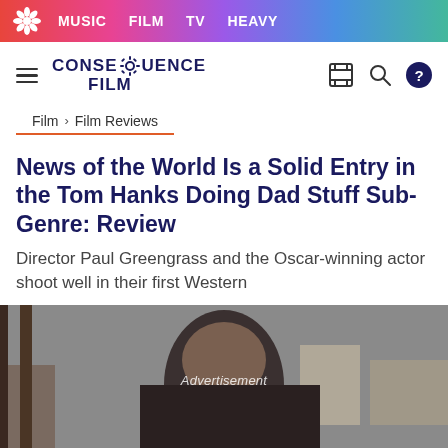MUSIC  FILM  TV  HEAVY
CONSEQUENCE FILM
Film > Film Reviews
News of the World Is a Solid Entry in the Tom Hanks Doing Dad Stuff Sub-Genre: Review
Director Paul Greengrass and the Oscar-winning actor shoot well in their first Western
[Figure (photo): Close-up photo of a man (Tom Hanks) with an 'Advertisement' overlay label in the center]